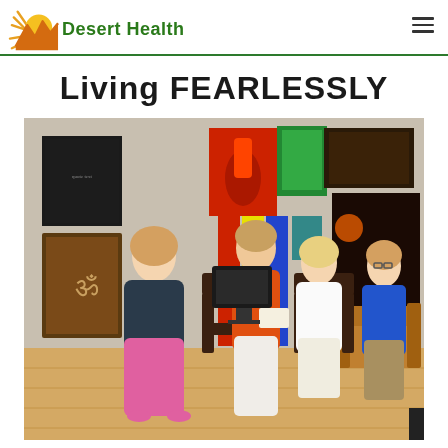Desert Health
Living FEARLESSLY
[Figure (photo): Panel discussion event with four women seated on chairs in an art gallery setting. A moderator in an orange top holds a microphone while speaking to the group. Artwork and paintings hang on the walls behind them. Wooden floor visible. A couch is on the right side.]